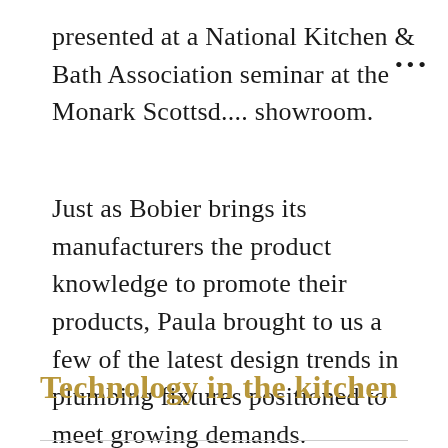presented at a National Kitchen & Bath Association seminar at the Monark Scottsd.... showroom.
Just as Bobier brings its manufacturers the product knowledge to promote their products, Paula brought to us a few of the latest design trends in plumbing fixtures positioned to meet growing demands.
Technology in the kitchen